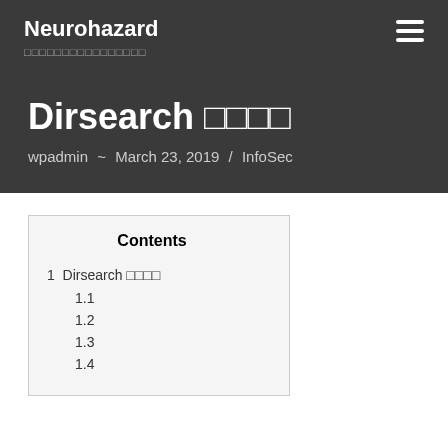Neurohazard
Dirsearch 使用紹介
wpadmin ~ March 23, 2019 / InfoSec
| Contents |
| --- |
| 1  Dirsearch 使用紹介 |
| 1.1 |
| 1.2 |
| 1.3 |
| 1.4 |